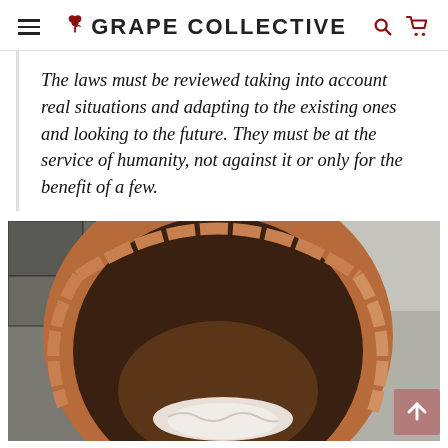GRAPE COLLECTIVE
The laws must be reviewed taking into account real situations and adapting to the existing ones and looking to the future. They must be at the service of humanity, not against it or only for the benefit of a few.
[Figure (photo): Photo of a person (partially visible, white hair) viewed from above through a circular terracotta/brick opening, possibly a wine amphora or clay vessel set into the ground.]